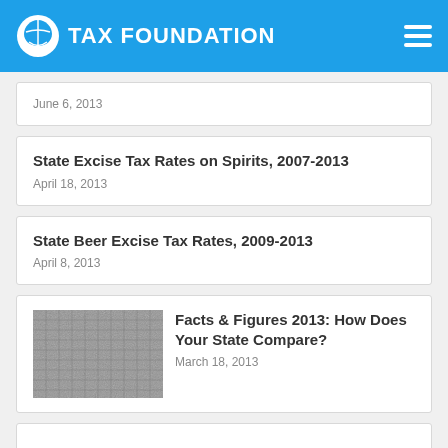TAX FOUNDATION
June 6, 2013
State Excise Tax Rates on Spirits, 2007-2013
April 18, 2013
State Beer Excise Tax Rates, 2009-2013
April 8, 2013
[Figure (photo): Thumbnail image for Facts & Figures 2013 publication]
Facts & Figures 2013: How Does Your State Compare?
March 18, 2013